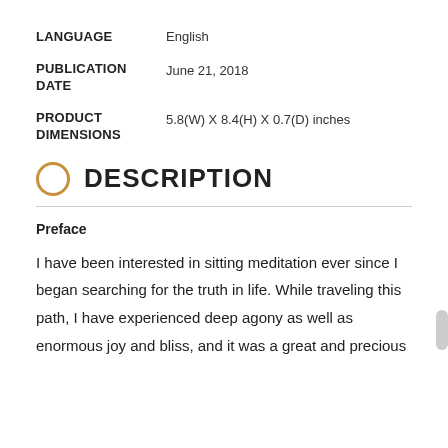LANGUAGE   English
PUBLICATION DATE   June 21, 2018
PRODUCT DIMENSIONS   5.8(W) X 8.4(H) X 0.7(D) inches
DESCRIPTION
Preface
I have been interested in sitting meditation ever since I began searching for the truth in life. While traveling this path, I have experienced deep agony as well as enormous joy and bliss, and it was a great and precious